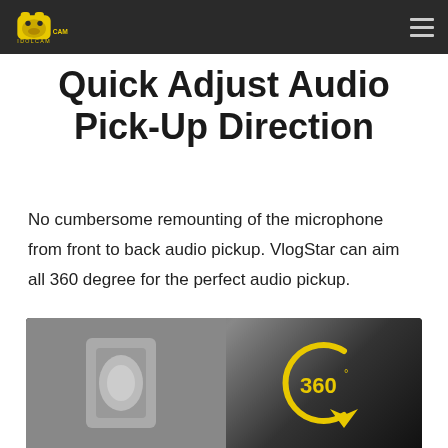IDOLCAM logo and navigation menu
Quick Adjust Audio Pick-Up Direction
No cumbersome remounting of the microphone from front to back audio pickup. VlogStar can aim all 360 degree for the perfect audio pickup.
[Figure (photo): Product photo showing a microphone/camera device with a yellow 360 degree rotation icon indicating full directional audio pickup capability]